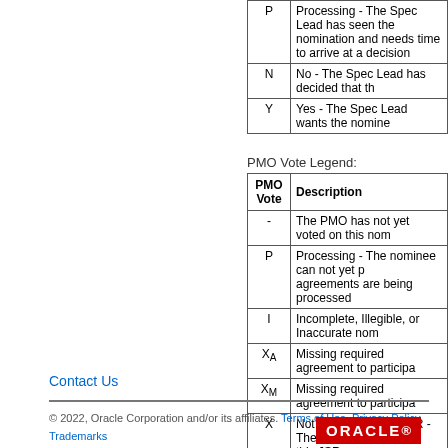| Code | Description |
| --- | --- |
| P | Processing - The Spec Lead has seen the nomination and needs time to arrive at a decision |
| N | No - The Spec Lead has decided that the nominee should not be added |
| Y | Yes - The Spec Lead wants the nominee to be added |
PMO Vote Legend:
| PMO Vote | Description |
| --- | --- |
| - | The PMO has not yet voted on this nomination |
| P | Processing - The nominee can not yet participate because their agreements are being processed |
| I | Incomplete, Illegible, or Inaccurate nomination |
| XA | Missing required agreement to participate |
| XM | Missing required agreement to participate |
| X | Not able to be on a JSR - The PMO has determined they may not be on this JSR |
| Y | Yes - The PMO views this as a valid nomination |
Contact Us
© 2022, Oracle Corporation and/or its affiliates. Terms of Use. Privacy Policy. Trademarks